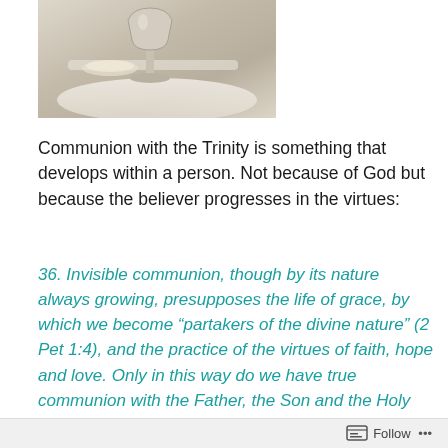[Figure (photo): A chalice and communion elements on a white cloth, photographed from above.]
Communion with the Trinity is something that develops within a person. Not because of God but because the believer progresses in the virtues:
36. Invisible communion, though by its nature always growing, presupposes the life of grace, by which we become “partakers of the divine nature” (2 Pet 1:4), and the practice of the virtues of faith, hope and love. Only in this way do we have true communion with the Father, the Son and the Holy Spirit. Nor is faith sufficient; we must persevere in sanctifying grace and love, remaining within the Church “bodily” as well as “in our heart”; (Cf. Lumen Gentium 14.) what is required, in the words of Saint Paul,
Follow